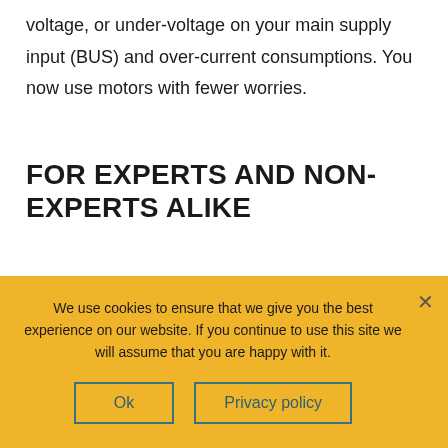voltage, or under-voltage on your main supply input (BUS) and over-current consumptions. You now use motors with fewer worries.
FOR EXPERTS AND NON-EXPERTS ALIKE
SOLO is easy but not simple. The experienced user will find many advanced functionalities. From sending packets through USB, UART, or CAN to use industrial state of the art technologies like Closed-loop and Open-loop. Second
We use cookies to ensure that we give you the best experience on our website. If you continue to use this site we will assume that you are happy with it.